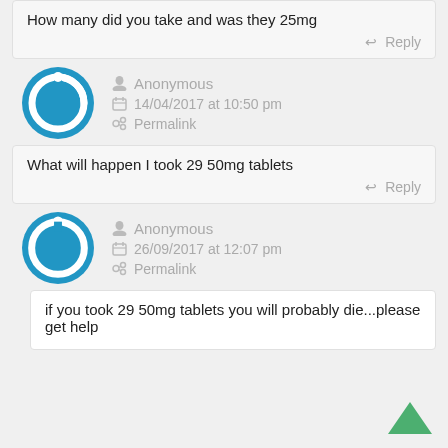How many did you take and was they 25mg
Reply
Anonymous
14/04/2017 at 10:50 pm
Permalink
What will happen I took 29 50mg tablets
Reply
Anonymous
26/09/2017 at 12:07 pm
Permalink
if you took 29 50mg tablets you will probably die...please get help